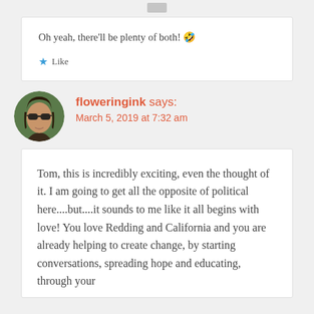Oh yeah, there'll be plenty of both! 🤣
★ Like
floweringink says: March 5, 2019 at 7:32 am
Tom, this is incredibly exciting, even the thought of it. I am going to get all the opposite of political here....but....it sounds to me like it all begins with love! You love Redding and California and you are already helping to create change, by starting conversations, spreading hope and educating, through your